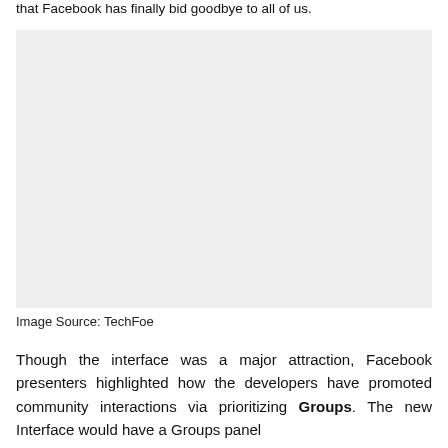that Facebook has finally bid goodbye to all of us.
[Figure (photo): A blank/placeholder image with light gray background]
Image Source: TechFoe
Though the interface was a major attraction, Facebook presenters highlighted how the developers have promoted community interactions via prioritizing Groups. The new Interface would have a Groups panel